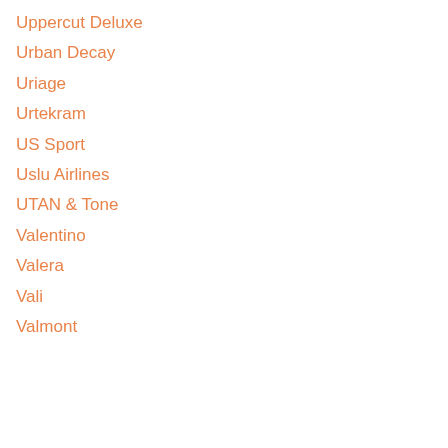Uppercut Deluxe
Urban Decay
Uriage
Urtekram
US Sport
Uslu Airlines
UTAN & Tone
Valentino
Valera
Vali
Valmont